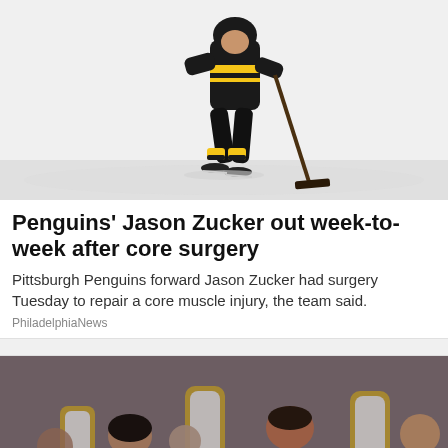[Figure (photo): Hockey player in Pittsburgh Penguins black and yellow uniform skating on ice, leaning forward with a hockey stick]
Penguins' Jason Zucker out week-to-week after core surgery
Pittsburgh Penguins forward Jason Zucker had surgery Tuesday to repair a core muscle injury, the team said.
PhiladelphiaNews
[Figure (photo): Several men seated at a formal meeting table with ornate gold and white chairs. A man in a black vest and white shirt appears to be looking at a phone.]